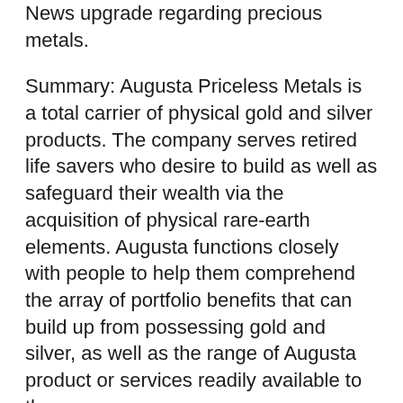News upgrade regarding precious metals.
Summary: Augusta Priceless Metals is a total carrier of physical gold and silver products. The company serves retired life savers who desire to build as well as safeguard their wealth via the acquisition of physical rare-earth elements. Augusta functions closely with people to help them comprehend the array of portfolio benefits that can build up from possessing gold and silver, as well as the range of Augusta product or services readily available to them.
The Augusta Priceless Metals group will certainly aid you throughout the purchasing process, making it easy to surrender a